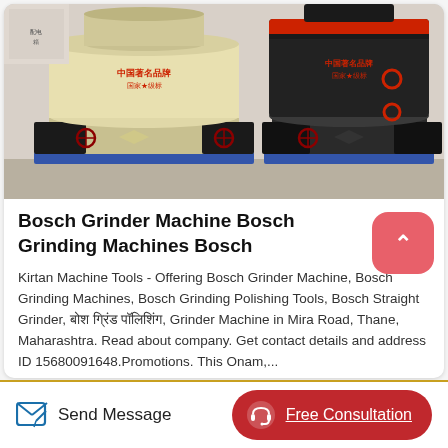[Figure (photo): Photo of two industrial grinding machines side by side — one cream/yellow colored and one black — both with Chinese branding text, red accents, and large cylindrical bodies in an industrial warehouse setting.]
Bosch Grinder Machine Bosch Grinding Machines Bosch
Kirtan Machine Tools - Offering Bosch Grinder Machine, Bosch Grinding Machines, Bosch Grinding Polishing Tools, Bosch Straight Grinder, बोश ग्रिंड पॉलिशिंग, Grinder Machine in Mira Road, Thane, Maharashtra. Read about company. Get contact details and address ID 15680091648.Promotions. This Onam,...
Send Message
Free Consultation